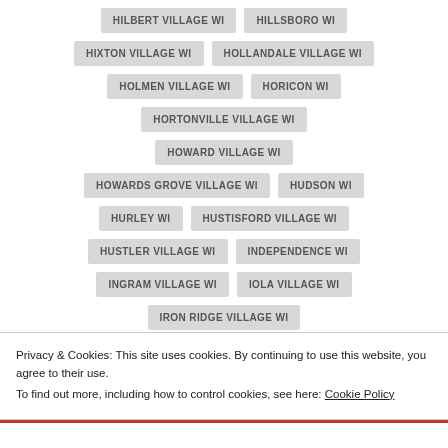HILBERT VILLAGE WI
HILLSBORO WI
HIXTON VILLAGE WI
HOLLANDALE VILLAGE WI
HOLMEN VILLAGE WI
HORICON WI
HORTONVILLE VILLAGE WI
HOWARD VILLAGE WI
HOWARDS GROVE VILLAGE WI
HUDSON WI
HURLEY WI
HUSTISFORD VILLAGE WI
HUSTLER VILLAGE WI
INDEPENDENCE WI
INGRAM VILLAGE WI
IOLA VILLAGE WI
IRON RIDGE VILLAGE WI
IRONTON VILLAGE WI
IXONIA WI
Privacy & Cookies: This site uses cookies. By continuing to use this website, you agree to their use. To find out more, including how to control cookies, see here: Cookie Policy
Close and accept